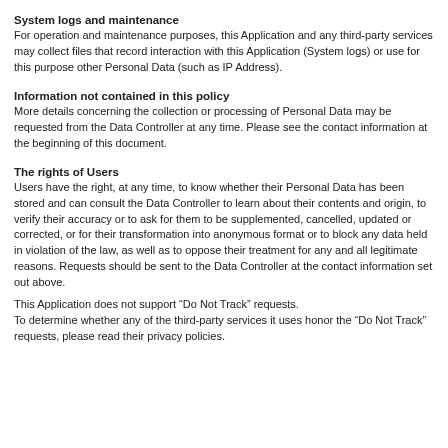System logs and maintenance
For operation and maintenance purposes, this Application and any third-party services may collect files that record interaction with this Application (System logs) or use for this purpose other Personal Data (such as IP Address).
Information not contained in this policy
More details concerning the collection or processing of Personal Data may be requested from the Data Controller at any time. Please see the contact information at the beginning of this document.
The rights of Users
Users have the right, at any time, to know whether their Personal Data has been stored and can consult the Data Controller to learn about their contents and origin, to verify their accuracy or to ask for them to be supplemented, cancelled, updated or corrected, or for their transformation into anonymous format or to block any data held in violation of the law, as well as to oppose their treatment for any and all legitimate reasons. Requests should be sent to the Data Controller at the contact information set out above.
This Application does not support “Do Not Track” requests.
To determine whether any of the third-party services it uses honor the “Do Not Track” requests, please read their privacy policies.